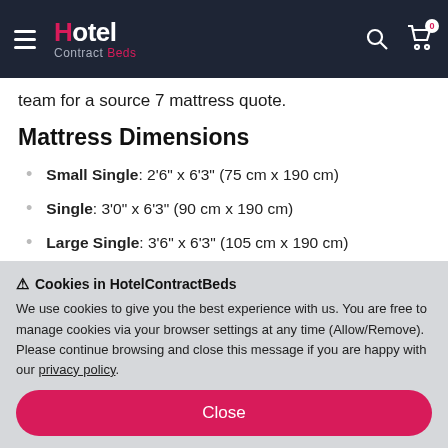Hotel Contract Beds
team for a source 7 mattress quote.
Mattress Dimensions
Small Single: 2'6" x 6'3" (75 cm x 190 cm)
Single: 3'0" x 6'3" (90 cm x 190 cm)
Large Single: 3'6" x 6'3" (105 cm x 190 cm)
Small Double: 4'0" x 6'3" (120 cm x 190 cm)
Double: 4'6" x 6'3" (135 cm x 190 cm)
Cookies in HotelContractBeds
We use cookies to give you the best experience with us. You are free to manage cookies via your browser settings at any time (Allow/Remove). Please continue browsing and close this message if you are happy with our privacy policy.
Close